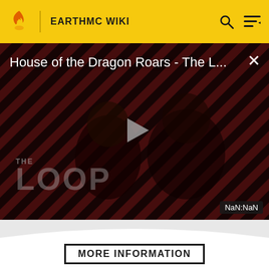EARTHMC WIKI
[Figure (screenshot): Video thumbnail for 'House of the Dragon Roars - The L...' showing two dark figures on a striped red/black background with 'THE LOOP' text overlay and a play button. A close button (×) is visible in the top right. Duration shows NaN:NaN.]
MORE INFORMATION
Top Contributors